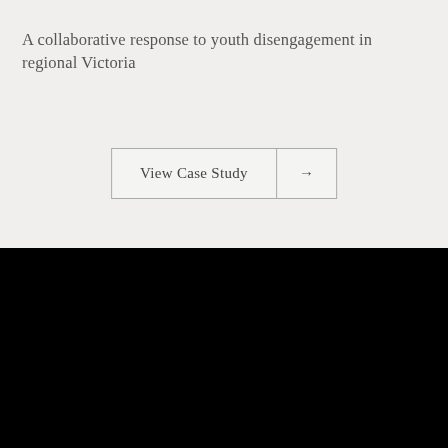A collaborative response to youth disengagement in regional Victoria
View Case Study →
SITEMAP ↑
HMSTrust acknowledges the traditional owners of the land on which we work, the Wurundjeri people of the Kulin Nation, and pay our respects to elders past, present and emerging. We proudly feature our vision for 'a strong, just and sustainable Victoria' in Wi…language… our expression of our core Poli…